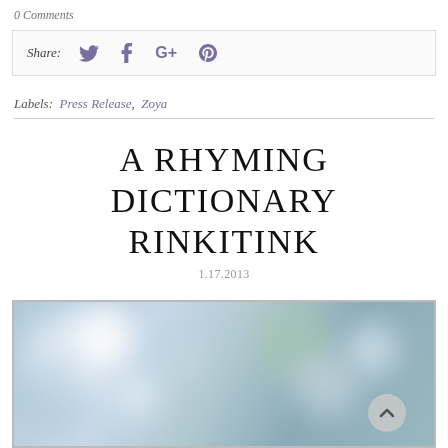0 Comments
Share:  [Twitter] [Facebook] [Google+] [Pinterest]
Labels:  Press Release,  Zoya
A RHYMING DICTIONARY RINKITINK
1.17.2013
[Figure (photo): Blurred bokeh background photo with soft blue, white and green out-of-focus light circles]